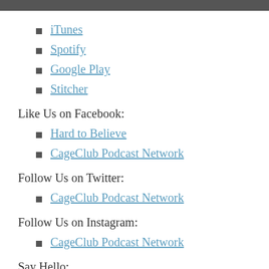iTunes
Spotify
Google Play
Stitcher
Like Us on Facebook:
Hard to Believe
CageClub Podcast Network
Follow Us on Twitter:
CageClub Podcast Network
Follow Us on Instagram:
CageClub Podcast Network
Say Hello: